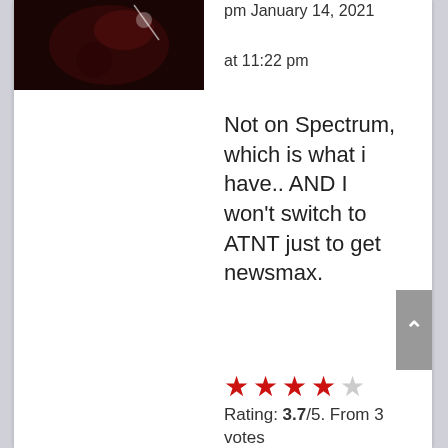[Figure (photo): Thumbnail avatar image showing a dark reddish/brown blurry photo]
pm January 14, 2021
at 11:22 pm
Not on Spectrum, which is what i have.. AND I won't switch to ATNT just to get newsmax.
[Figure (other): Star rating: 4 filled red stars and 1 empty star]
Rating: 3.7/5. From 3 votes